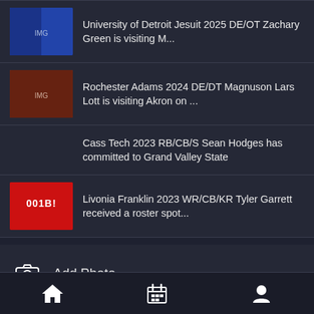University of Detroit Jesuit 2025 DE/OT Zachary Green is visiting M...
Rochester Adams 2024 DE/DT Magnuson Lars Lott is visiting Akron on ...
Cass Tech 2023 RB/CB/S Sean Hodges has committed to Grand Valley State
Livonia Franklin 2023 WR/CB/KR Tyler Garrett received a roster spot...
Add Photo
Add Video
Share